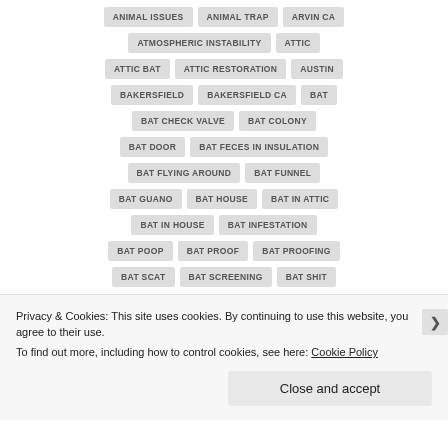ANIMAL ISSUES
ANIMAL TRAP
ARVIN CA
ATMOSPHERIC INSTABILITY
ATTIC
ATTIC BAT
ATTIC RESTORATION
AUSTIN
BAKERSFIELD
BAKERSFIELD CA
BAT
BAT CHECK VALVE
BAT COLONY
BAT DOOR
BAT FECES IN INSULATION
BAT FLYING AROUND
BAT FUNNEL
BAT GUANO
BAT HOUSE
BAT IN ATTIC
BAT IN HOUSE
BAT INFESTATION
BAT POOP
BAT PROOF
BAT PROOFING
BAT SCAT
BAT SCREENING
BAT SHIT
Privacy & Cookies: This site uses cookies. By continuing to use this website, you agree to their use.
To find out more, including how to control cookies, see here: Cookie Policy
Close and accept